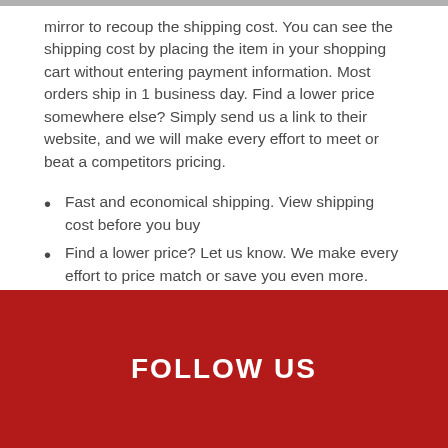mirror to recoup the shipping cost. You can see the shipping cost by placing the item in your shopping cart without entering payment information. Most orders ship in 1 business day. Find a lower price somewhere else? Simply send us a link to their website, and we will make every effort to meet or beat a competitors pricing.
Fast and economical shipping. View shipping cost before you buy
Find a lower price? Let us know. We make every effort to price match or save you even more.
Most items ship within 1 day.
FOLLOW US